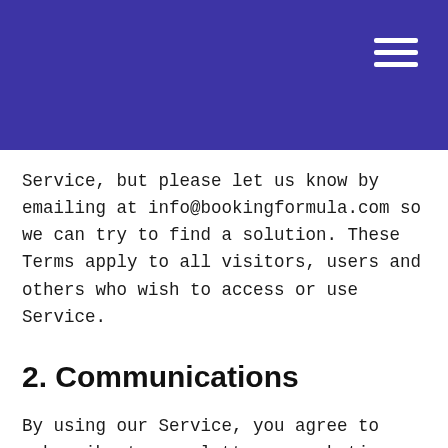Service, but please let us know by emailing at info@bookingformula.com so we can try to find a solution. These Terms apply to all visitors, users and others who wish to access or use Service.
2. Communications
By using our Service, you agree to subscribe to newsletters, marketing or promotional materials and other information we may send. However, you may opt out of receiving any, or all, of these communications from us by